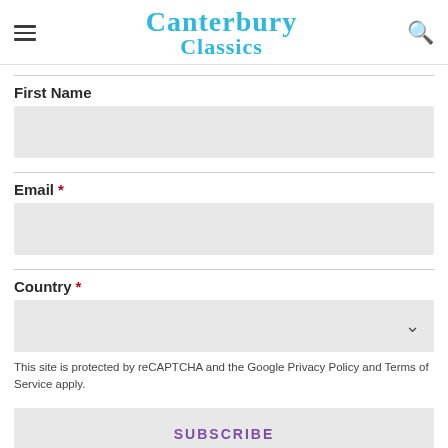Canterbury Classics
First Name
Email *
Country *
This site is protected by reCAPTCHA and the Google Privacy Policy and Terms of Service apply.
SUBSCRIBE